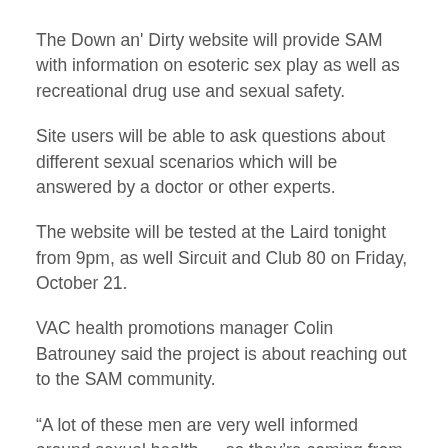The Down an' Dirty website will provide SAM with information on esoteric sex play as well as recreational drug use and sexual safety.
Site users will be able to ask questions about different sexual scenarios which will be answered by a doctor or other experts.
The website will be tested at the Laird tonight from 9pm, as well Sircuit and Club 80 on Friday, October 21.
VAC health promotions manager Colin Batrouney said the project is about reaching out to the SAM community.
“A lot of these men are very well informed around sexual health … so they’re coming from quite a high knowledge base, but we’re able to provide additional information around various esoteric sexual practices and their relative safety, not only in relation to HIV or